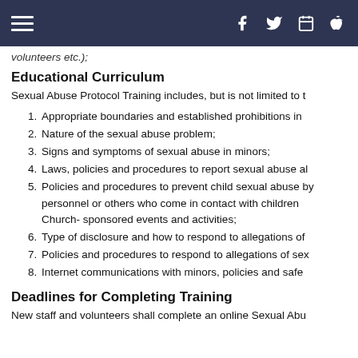Navigation bar with hamburger menu and social/app icons
volunteers etc.);
Educational Curriculum
Sexual Abuse Protocol Training includes, but is not limited to t
Appropriate boundaries and established prohibitions in
Nature of the sexual abuse problem;
Signs and symptoms of sexual abuse in minors;
Laws, policies and procedures to report sexual abuse al
Policies and procedures to prevent child sexual abuse by personnel or others who come in contact with children Church- sponsored events and activities;
Type of disclosure and how to respond to allegations of
Policies and procedures to respond to allegations of sex
Internet communications with minors, policies and safe
Deadlines for Completing Training
New staff and volunteers shall complete an online Sexual Abu